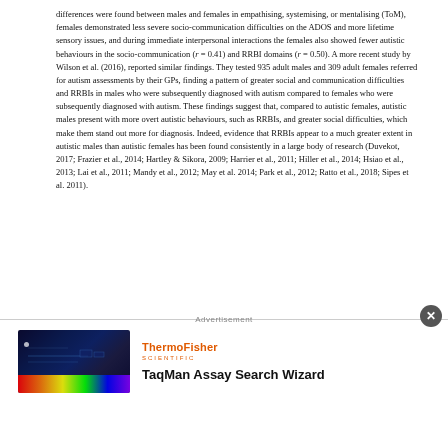differences were found between males and females in empathising, systemising, or mentalising (ToM), females demonstrated less severe socio-communication difficulties on the ADOS and more lifetime sensory issues, and during immediate interpersonal interactions the females also showed fewer autistic behaviours in the socio-communication (r = 0.41) and RRBI domains (r = 0.50). A more recent study by Wilson et al. (2016), reported similar findings. They tested 935 adult males and 309 adult females referred for autism assessments by their GPs, finding a pattern of greater social and communication difficulties and RRBIs in males who were subsequently diagnosed with autism compared to females who were subsequently diagnosed with autism. These findings suggest that, compared to autistic females, autistic males present with more overt autistic behaviours, such as RRBIs, and greater social difficulties, which make them stand out more for diagnosis. Indeed, evidence that RRBIs appear to a much greater extent in autistic males than autistic females has been found consistently in a large body of research (Duvekot, 2017; Frazier et al., 2014; Hartley & Sikora, 2009; Harrier et al., 2011; Hiller et al., 2014; Hsiao et al., 2013; Lai et al., 2011; Mandy et al., 2012; May et al. 2014; Park et al., 2012; Ratto et al., 2018; Sipes et al. 2011).
[Figure (other): Advertisement banner: ThermoFisher Scientific TaqMan Assay Search Wizard ad with dark blue background image featuring rainbow spectrum strip and ThermoFisher Scientific logo]